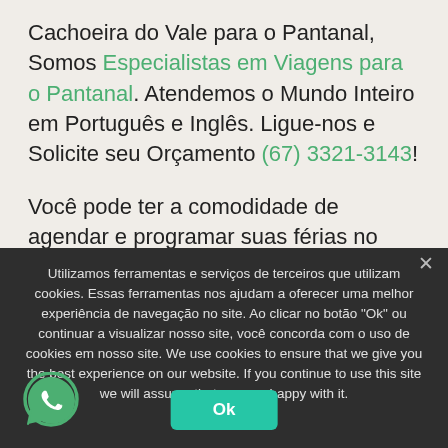Cachoeira do Vale para o Pantanal, Somos Especialistas em Viagens para o Pantanal. Atendemos o Mundo Inteiro em Português e Inglês. Ligue-nos e Solicite seu Orçamento (67) 3321-3143!
Você pode ter a comodidade de agendar e programar suas férias no
Utilizamos ferramentas e serviços de terceiros que utilizam cookies. Essas ferramentas nos ajudam a oferecer uma melhor experiência de navegação no site. Ao clicar no botão "Ok" ou continuar a visualizar nosso site, você concorda com o uso de cookies em nosso site. We use cookies to ensure that we give you the best experience on our website. If you continue to use this site we will assume that you are happy with it.
[Figure (logo): WhatsApp green phone icon in a speech bubble]